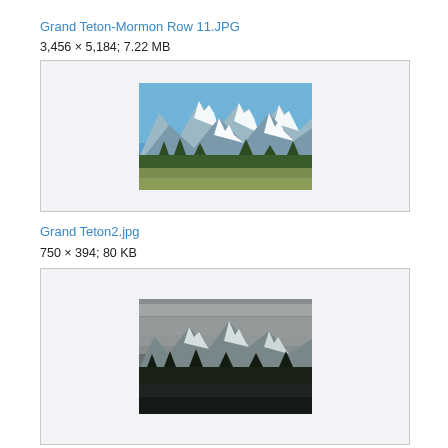Grand Teton-Mormon Row 11.JPG
3,456 × 5,184; 7.22 MB
[Figure (photo): Grand Teton-Mormon Row 11.JPG thumbnail – snow-capped Grand Teton peaks with trees and meadow in foreground, blue sky]
Grand Teton2.jpg
750 × 394; 80 KB
[Figure (photo): Grand Teton2.jpg thumbnail – snow-capped Teton range under dramatic overcast sky with dark forested foreground]